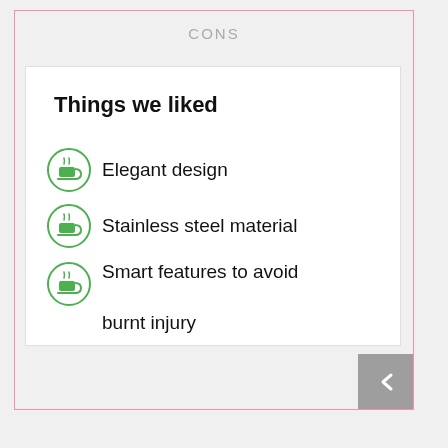CONS
Things we liked
Elegant design
Stainless steel material
Smart features to avoid burnt injury